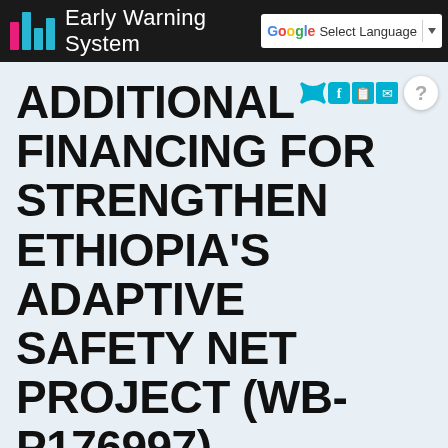Early Warning System
ADDITIONAL FINANCING FOR STRENGTHEN ETHIOPIA'S ADAPTIVE SAFETY NET PROJECT (WB-P176997)
Countries
Ethiopia
Financial Institutions
World Bank (WB)